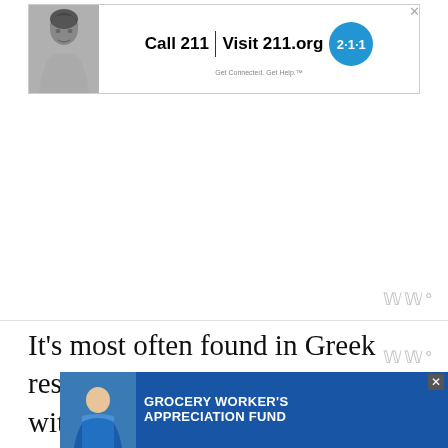[Figure (other): Banner advertisement: photo of woman, text 'Call 211 | Visit 211.org' with blue 2-1-1 badge logo and tagline 'Get Connected. Get Help.']
[Figure (other): Empty white advertisement placeholder box with 'www°' watermark icon in bottom right]
It's most often found in Greek restaurants, and goes super well with pita bread or chips and grilled meat and veggies.
You can even buy it pre-made in most grocery stores if you don't want to make it
[Figure (other): Banner advertisement: 'GROCERY WORKER'S APPRECIATION FUND' in white text on blue background, with image of grocery worker, Kendall-Jackson logo, and United Way logo. Close X button visible.]